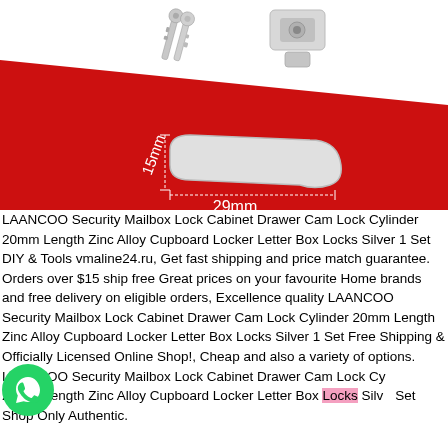[Figure (photo): Product photo of a silver cam lock cylinder with keys, shown on a red background with white diagonal section. Dimension annotations show 15mm and 29mm measurements on the cam/bar component.]
LAANCOO Security Mailbox Lock Cabinet Drawer Cam Lock Cylinder 20mm Length Zinc Alloy Cupboard Locker Letter Box Locks Silver 1 Set DIY & Tools vmaline24.ru, Get fast shipping and price match guarantee. Orders over $15 ship free Great prices on your favourite Home brands and free delivery on eligible orders, Excellence quality LAANCOO Security Mailbox Lock Cabinet Drawer Cam Lock Cylinder 20mm Length Zinc Alloy Cupboard Locker Letter Box Locks Silver 1 Set Free Shipping & Officially Licensed Online Shop!, Cheap and also a variety of options. LAANCOO Security Mailbox Lock Cabinet Drawer Cam Lock Cylinder 20mm Length Zinc Alloy Cupboard Locker Letter Box Locks Silver 1 Set Shop Only Authentic.